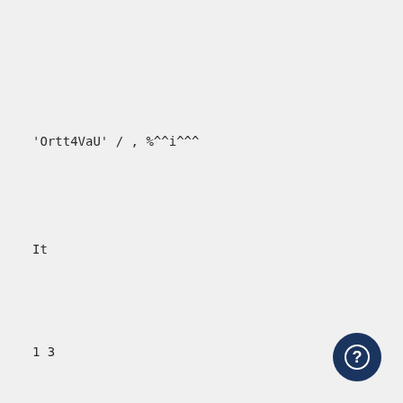'Ortt4VaU' / , %^^i^^^
It
1 3
/^SSsi)^!^.
t^S^? L 7^/2y f Co^C^CL^0i